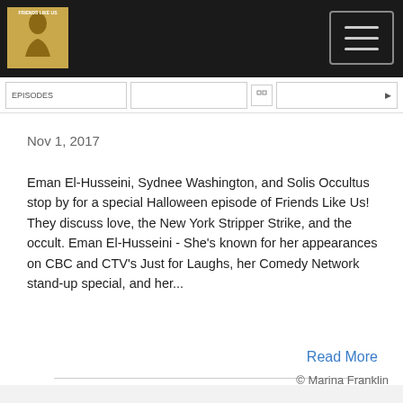[Figure (logo): Friends Like Us podcast logo — golden/tan square with a silhouette illustration]
Nov 1, 2017
Eman El-Husseini, Sydnee Washington, and Solis Occultus stop by for a special Halloween episode of Friends Like Us! They discuss love, the New York Stripper Strike, and the occult. Eman El-Husseini - She's known for her appearances on CBC and CTV's Just for Laughs, her Comedy Network stand-up special, and her...
Read More
© Marina Franklin